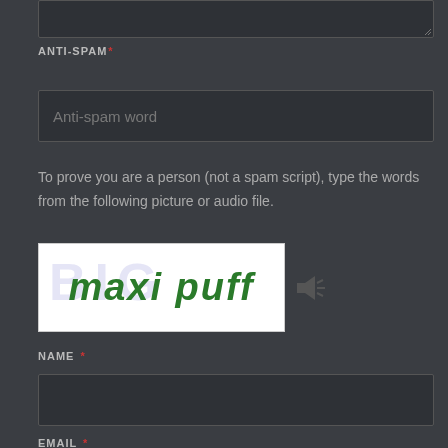ANTI-SPAM *
Anti-spam word
To prove you are a person (not a spam script), type the words from the following picture or audio file.
[Figure (other): CAPTCHA image showing handwritten green text 'maxi puff' on white background with faint blue watermark text, next to an audio speaker icon]
NAME *
EMAIL *